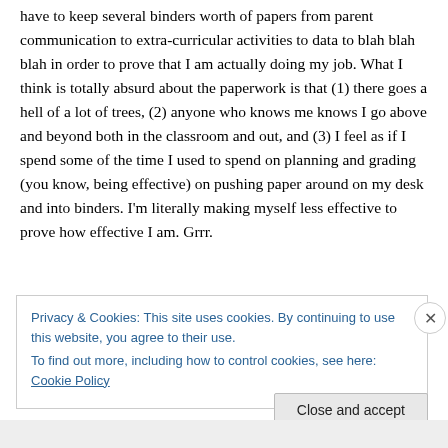have to keep several binders worth of papers from parent communication to extra-curricular activities to data to blah blah blah in order to prove that I am actually doing my job. What I think is totally absurd about the paperwork is that (1) there goes a hell of a lot of trees, (2) anyone who knows me knows I go above and beyond both in the classroom and out, and (3) I feel as if I spend some of the time I used to spend on planning and grading (you know, being effective) on pushing paper around on my desk and into binders. I'm literally making myself less effective to prove how effective I am. Grrr.
Privacy & Cookies: This site uses cookies. By continuing to use this website, you agree to their use.
To find out more, including how to control cookies, see here: Cookie Policy